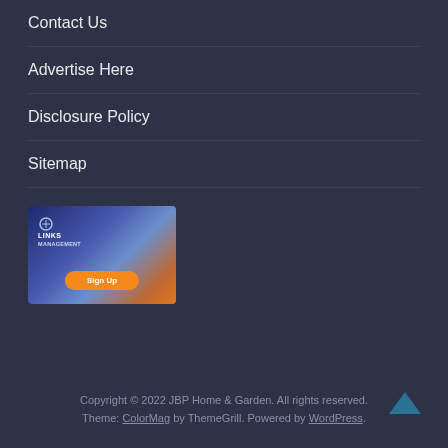Contact Us
Advertise Here
Disclosure Policy
Sitemap
[Figure (screenshot): Links Management banner ad with blue gradient background and orange Sign Up button]
Copyright © 2022 JBP Home & Garden. All rights reserved. Theme: ColorMag by ThemeGrill. Powered by WordPress.